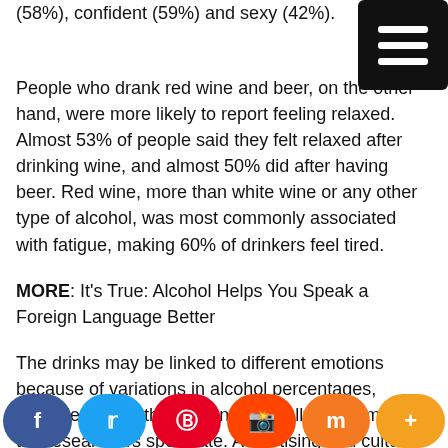(58%), confident (59%) and sexy (42%).
People who drank red wine and beer, on the other hand, were more likely to report feeling relaxed. Almost 53% of people said they felt relaxed after drinking wine, and almost 50% did after having beer. Red wine, more than white wine or any other type of alcohol, was most commonly associated with fatigue, making 60% of drinkers feel tired.
MORE: It's True: Alcohol Helps You Speak a Foreign Language Better
The drinks may be linked to different emotions because of variations in alcohol percentages, ingredients and the amounts typically consumed, the researchers speculate. Advertising and cultural implications related to the beve...